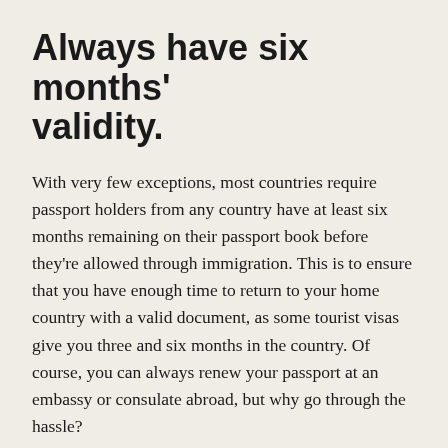Always have six months' validity.
With very few exceptions, most countries require passport holders from any country have at least six months remaining on their passport book before they're allowed through immigration. This is to ensure that you have enough time to return to your home country with a valid document, as some tourist visas give you three and six months in the country. Of course, you can always renew your passport at an embassy or consulate abroad, but why go through the hassle?
Take charge at immigration.
Take a look in your passport book. Each page